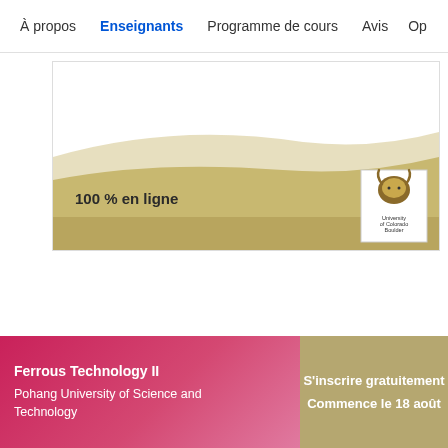À propos  Enseignants  Programme de cours  Avis  Op
[Figure (illustration): University of Colorado Boulder course banner with golden wave design and '100 % en ligne' label and university logo]
Ferrous Technology II
Pohang University of Science and Technology
S'inscrire gratuitement
Commence le 18 août